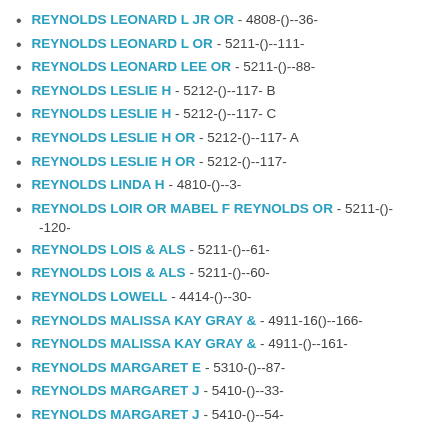REYNOLDS LEONARD L JR OR - 4808-()--36-
REYNOLDS LEONARD L OR - 5211-()--111-
REYNOLDS LEONARD LEE OR - 5211-()--88-
REYNOLDS LESLIE H - 5212-()--117- B
REYNOLDS LESLIE H - 5212-()--117- C
REYNOLDS LESLIE H OR - 5212-()--117- A
REYNOLDS LESLIE H OR - 5212-()--117-
REYNOLDS LINDA H - 4810-()--3-
REYNOLDS LOIR OR MABEL F REYNOLDS OR - 5211-()-120-
REYNOLDS LOIS & ALS - 5211-()--61-
REYNOLDS LOIS & ALS - 5211-()--60-
REYNOLDS LOWELL - 4414-()--30-
REYNOLDS MALISSA KAY GRAY & - 4911-16()--166-
REYNOLDS MALISSA KAY GRAY & - 4911-()--161-
REYNOLDS MARGARET E - 5310-()--87-
REYNOLDS MARGARET J - 5410-()--33-
REYNOLDS MARGARET J - 5410-()--54-